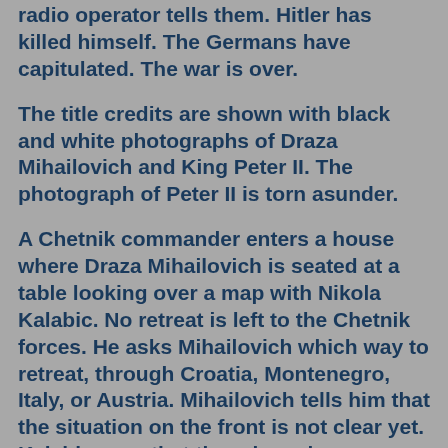radio operator tells them. Hitler has killed himself. The Germans have capitulated. The war is over.
The title credits are shown with black and white photographs of Draza Mihailovich and King Peter II. The photograph of Peter II is torn asunder.
A Chetnik commander enters a house where Draza Mihailovich is seated at a table looking over a map with Nikola Kalabic. No retreat is left to the Chetnik forces. He asks Mihailovich which way to retreat, through Croatia, Montenegro, Italy, or Austria. Mihailovich tells him that the situation on the front is not clear yet. Kalabic says that there is no longer a front. Draza tells them that Ante Pavelic has not given approval for a retreat across Croatia. He tells them that they have to focus on Serbia.